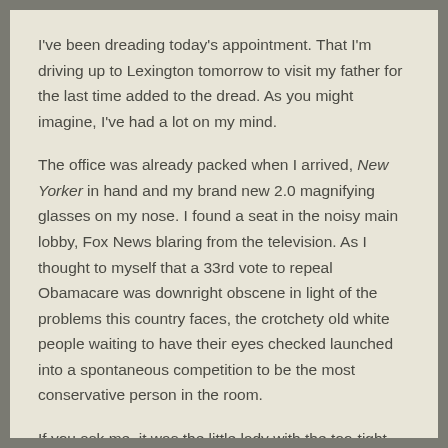I've been dreading today's appointment. That I'm driving up to Lexington tomorrow to visit my father for the last time added to the dread. As you might imagine, I've had a lot on my mind.
The office was already packed when I arrived, New Yorker in hand and my brand new 2.0 magnifying glasses on my nose. I found a seat in the noisy main lobby, Fox News blaring from the television. As I thought to myself that a 33rd vote to repeal Obamacare was downright obscene in light of the problems this country faces, the crotchety old white people waiting to have their eyes checked launched into a spontaneous competition to be the most conservative person in the room.
If you ask me, it was the little lady with the too-tight blue perm who blamed President Obama for everything but the weather. The Hulk Hogan clone, Georgia-fied of course, with a Confederate flag tattoo on his left bicep, gave her a run for her money, and might have even won among those in the room with more racist views. I pretended to read the banner publication of the liberal elite in